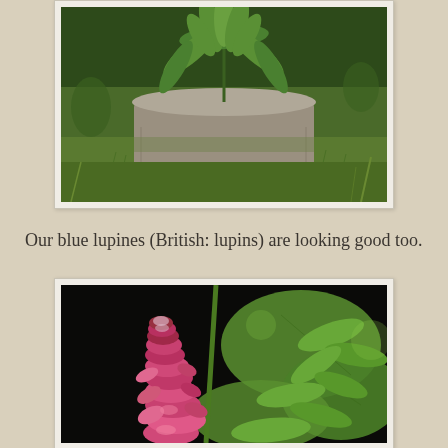[Figure (photo): A lupine plant in a large stone/concrete pot sitting on grass, photographed from above showing the palmate leaves at the top of the pot.]
Our blue lupines (British: lupins) are looking good too.
[Figure (photo): Close-up photograph of a pink/magenta lupin flower spike with green palmate leaves in the background, against a dark background.]